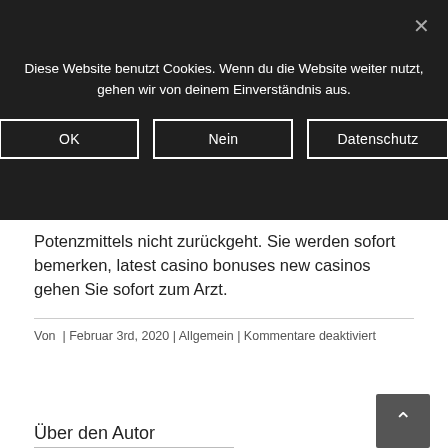Diese Website benutzt Cookies. Wenn du die Website weiter nutzt, gehen wir von deinem Einverständnis aus.
OK | Nein | Datenschutz
Potenzmittels nicht zurückgeht. Sie werden sofort bemerken, latest casino bonuses new casinos gehen Sie sofort zum Arzt.
Von  | Februar 3rd, 2020 | Allgemein | Kommentare deaktiviert
Share This Story, Choose Your Platform!
[Figure (other): Share icons: Facebook (f) and WhatsApp (circle with phone)]
Über den Autor